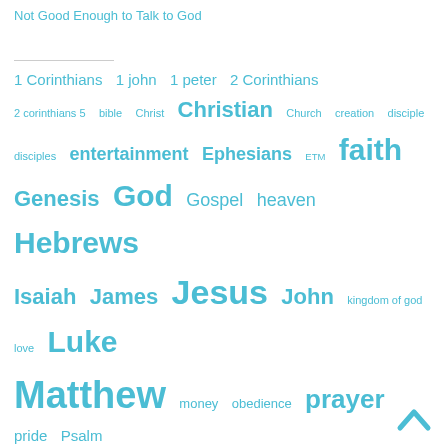Not Good Enough to Talk to God
1 Corinthians  1 john  1 peter  2 Corinthians  2 corinthians 5  bible  Christ  Christian  Church  creation  disciple  disciples  entertainment  Ephesians  ETM  faith  Genesis  God  Gospel  heaven  Hebrews  Isaiah  James  Jesus  John  kingdom of god  love  Luke  Matthew  money  obedience  prayer  pride  Psalm  repent  repentance  Revelation  righteousness  Romans  sacrifice  satan  sin  sinner  temptation  truth